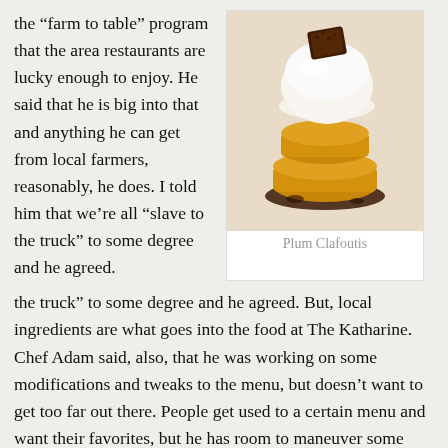the “farm to table” program that the area restaurants are lucky enough to enjoy. He said that he is big into that and anything he can get from local farmers, reasonably, he does. I told him that we’re all “slave to the truck” to some degree and he agreed.
[Figure (photo): Close-up photo of a Plum Clafoutis dessert — stacked golden pastry rounds topped with a white cream dome and chocolate garnish, on a white plate with dark sauce.]
Plum Clafoutis
the truck” to some degree and he agreed. But, local ingredients are what goes into the food at The Katharine. Chef Adam said, also, that he was working on some modifications and tweaks to the menu, but doesn’t want to get too far out there. People get used to a certain menu and want their favorites, but he has room to maneuver some rotating items, as well. Makes me excited for that.
So, the bottom line for me on the Katharine Brasserie and